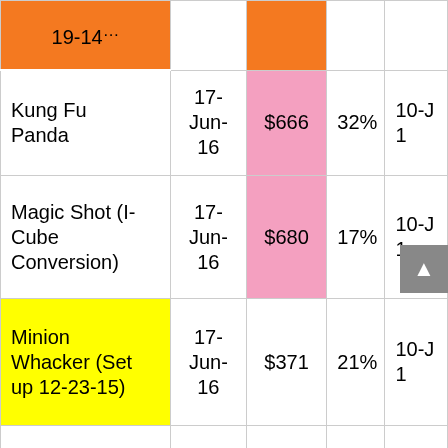| Game | Date | Price | % | End Date |
| --- | --- | --- | --- | --- |
| 19-14... |  | (orange) |  |  |
| Kung Fu Panda | 17-Jun-16 | $666 | 32% | 10-J... 1 |
| Magic Shot (I-Cube Conversion) | 17-Jun-16 | $680 | 17% | 10-J... 1 |
| Minion Whacker (Set up 12-23-15) | 17-Jun-16 | $371 | 21% | 10-J... 1 |
| Monopoly 1 Pl Videmption | 17-Jun-16 | $227 | 26% | 10-J... 1 |
| Monster Drop | 17-Jun- | (green) |  | 10-J... |